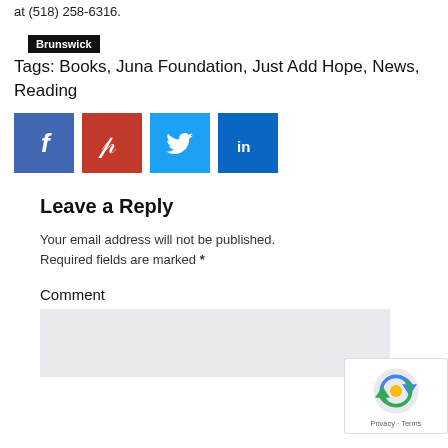at (518) 258-6516.
Brunswick
Tags: Books, Juna Foundation, Just Add Hope, News, Reading
[Figure (other): Social media share buttons: Facebook (blue), Pinterest (red), Twitter (light blue), LinkedIn (dark blue)]
Leave a Reply
Your email address will not be published. Required fields are marked *
Comment